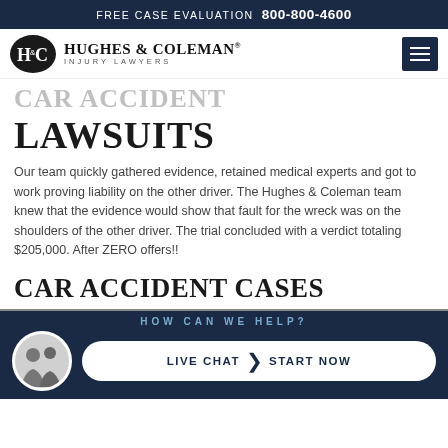FREE CASE EVALUATION  800-800-4600
[Figure (logo): Hughes & Coleman Injury Lawyers logo with oval monogram and firm name]
CAR ACCIDENT LAWSUITS
Our team quickly gathered evidence, retained medical experts and got to work proving liability on the other driver. The Hughes & Coleman team knew that the evidence would show that fault for the wreck was on the shoulders of the other driver. The trial concluded with a verdict totaling $205,000. After ZERO offers!!
CAR ACCIDENT CASES
HOW CAN WE HELP?
LIVE CHAT  START NOW